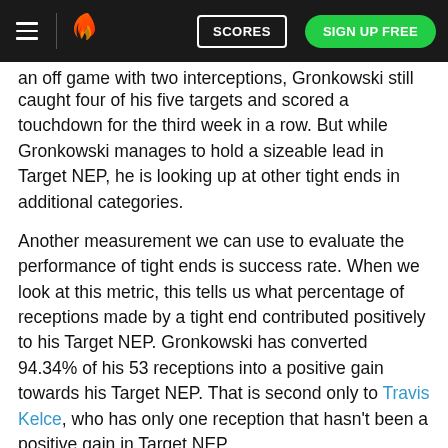SCORES | SIGN UP FREE
an off game with two interceptions, Gronkowski still caught four of his five targets and scored a touchdown for the third week in a row. But while Gronkowski manages to hold a sizeable lead in Target NEP, he is looking up at other tight ends in additional categories.
Another measurement we can use to evaluate the performance of tight ends is success rate. When we look at this metric, this tells us what percentage of receptions made by a tight end contributed positively to his Target NEP. Gronkowski has converted 94.34% of his 53 receptions into a positive gain towards his Target NEP. That is second only to Travis Kelce, who has only one reception that hasn't been a positive gain in Target NEP.